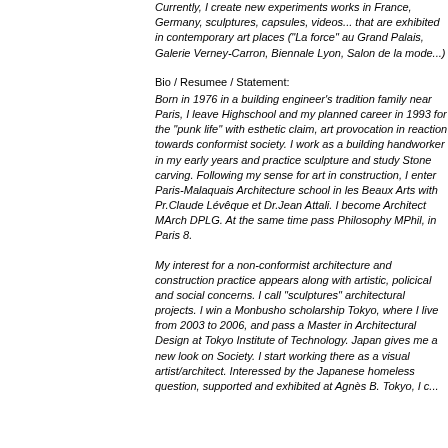Currently, I create new experiments works in France, Germany, sculptures, capsules, videos... that are exhibited in contemporary art places ("La force" au Grand Palais, Galerie Verney-Carron, Biennale Lyon, Salon de la mode...)
Bio / Resumee / Statement:
Born in 1976 in a building engineer's tradition family near Paris, I leave Highschool and my planned career in 1993 for the "punk life" with esthetic claim, art provocation in reaction towards conformist society. I work as a building handworker in my early years and practice sculpture and study Stone carving. Following my sense for art in construction, I enter Paris-Malaquais Architecture school in les Beaux Arts with Pr.Claude Lévêque et Dr.Jean Attali. I become Architect MArch DPLG. At the same time pass Philosophy MPhil, in Paris 8.
My interest for a non-conformist architecture and construction practice appears along with artistic, policical and social concerns. I call "sculptures" architectural projects. I win a Monbusho scholarship Tokyo, where I live from 2003 to 2006, and pass a Master in Architectural Design at Tokyo Institute of Technology. Japan gives me a new look on Society. I start working there as a visual artist/architect. Interessed by the Japanese homeless question, supported and exhibited at Agnès B. Tokyo, I c...